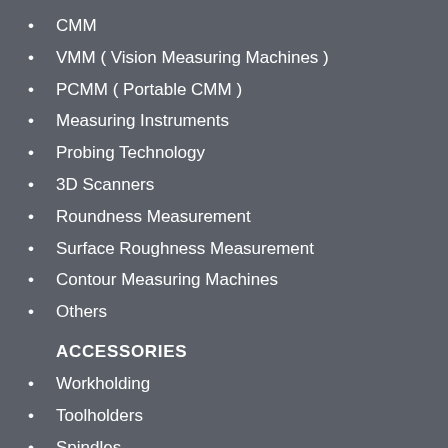CMM
VMM ( Vision Measuring Machines )
PCMM ( Portable CMM )
Measuring Instruments
Probing Technology
3D Scanners
Roundness Measurement
Surface Roughness Measurement
Contour Measuring Machines
Others
ACCESSORIES
Workholding
Toolholders
Spindles
Coolants
Others
SOFTWARE
CAD
CAM